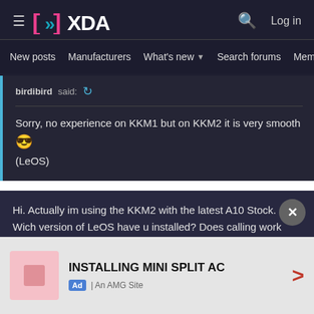XDA Forums - New posts | Manufacturers | What's new | Search forums | Members
birdibird said: ↩
Sorry, no experience on KKM1 but on KKM2 it is very smooth 😎 (LeOS)
Hi. Actually im using the KKM2 with the latest A10 Stock. Wich version of LeOS have u installed? Does calling work with VoLTE and without annoyning echos while speaking? Is the Wifi connecting now stable? Regards
kowalskie
[Figure (screenshot): Advertisement banner for INSTALLING MINI SPLIT AC by An AMG Site]